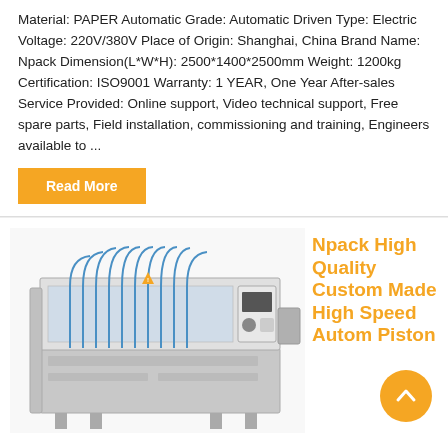Material: PAPER Automatic Grade: Automatic Driven Type: Electric Voltage: 220V/380V Place of Origin: Shanghai, China Brand Name: Npack Dimension(L*W*H): 2500*1400*2500mm Weight: 1200kg Certification: ISO9001 Warranty: 1 YEAR, One Year After-sales Service Provided: Online support, Video technical support, Free spare parts, Field installation, commissioning and training, Engineers available to ...
Read More
[Figure (photo): Industrial piston filling machine — stainless steel body with multiple filling nozzles and tubes, control panel on right side.]
Npack High Quality Custom Made High Speed Autom Piston